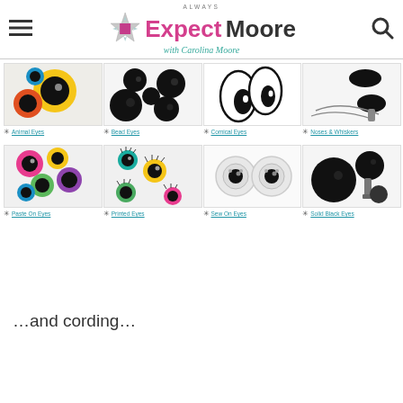[Figure (screenshot): Always Expect Moore with Carolina Moore website header with hamburger menu, star logo, magenta and dark text logo, teal script subtitle, and search icon]
[Figure (photo): Grid of 8 product category images: Animal Eyes, Bead Eyes, Comical Eyes, Noses & Whiskers, Paste On Eyes, Printed Eyes, Sew On Eyes, Solid Black Eyes]
…and cording…